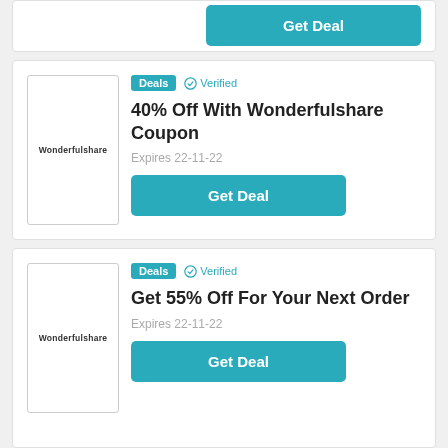[Figure (screenshot): Partial coupon card showing a teal Get Deal button at the top]
[Figure (logo): Wonderfulshare logo in a bordered box]
Deals  ✓ Verified
40% Off With Wonderfulshare Coupon
Expires 22-11-22
Get Deal
[Figure (logo): Wonderfulshare logo in a bordered box]
Deals  ✓ Verified
Get 55% Off For Your Next Order
Expires 22-11-22
Get Deal